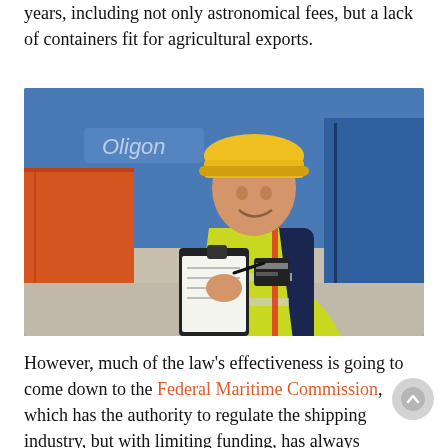years, including not only astronomical fees, but a lack of containers fit for agricultural exports.
[Figure (photo): A male worker wearing a yellow hard hat and high-visibility yellow vest, holding a clipboard and writing on it, standing in front of blurred shipping containers in blue and orange.]
However, much of the law's effectiveness is going to come down to the Federal Maritime Commission, which has the authority to regulate the shipping industry, but with limiting funding, has always